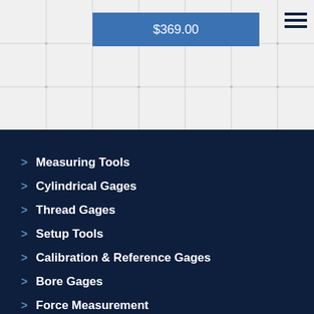$369.00
Measuring Tools
Cylindrical Gages
Thread Gages
Setup Tools
Calibration & Reference Gages
Bore Gages
Force Measurement
Torque Tools
Optical & Vision Systems